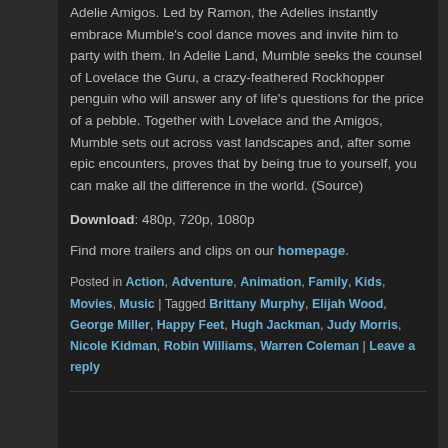Adelie Amigos. Led by Ramon, the Adelies instantly embrace Mumble's cool dance moves and invite him to party with them. In Adelie Land, Mumble seeks the counsel of Lovelace the Guru, a crazy-feathered Rockhopper penguin who will answer any of life's questions for the price of a pebble. Together with Lovelace and the Amigos, Mumble sets out across vast landscapes and, after some epic encounters, proves that by being true to yourself, you can make all the difference in the world. (Source)
Download: 480p, 720p, 1080p
Find more trailers and clips on our homepage.
Posted in Action, Adventure, Animation, Family, Kids, Movies, Music | Tagged Brittany Murphy, Elijah Wood, George Miller, Happy Feet, Hugh Jackman, Judy Morris, Nicole Kidman, Robin Williams, Warren Coleman | Leave a reply